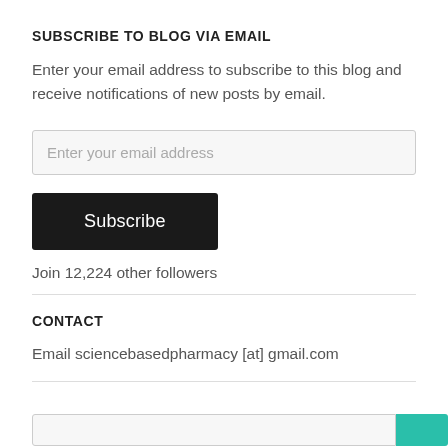SUBSCRIBE TO BLOG VIA EMAIL
Enter your email address to subscribe to this blog and receive notifications of new posts by email.
Enter your email address
Subscribe
Join 12,224 other followers
CONTACT
Email sciencebasedpharmacy [at] gmail.com